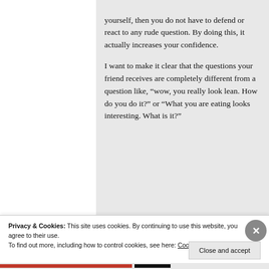yourself, then you do not have to defend or react to any rude question. By doing this, it actually increases your confidence.

I want to make it clear that the questions your friend receives are completely different from a question like, “wow, you really look lean. How do you do it?” or “What you are eating looks interesting. What is it?”
Privacy & Cookies: This site uses cookies. By continuing to use this website, you agree to their use.
To find out more, including how to control cookies, see here: Cookie Policy